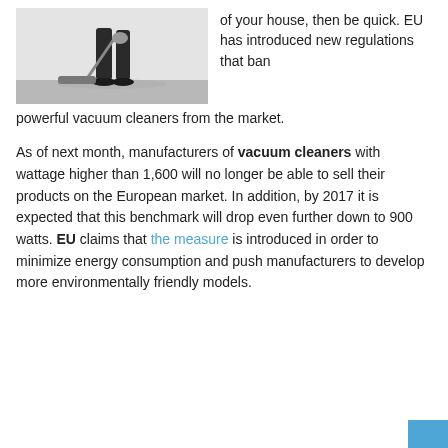[Figure (photo): Photo of a person using a vacuum cleaner on a floor, cropped to show legs and the vacuum, with a light grey background.]
of your house, then be quick. EU has introduced new regulations that ban powerful vacuum cleaners from the market.
As of next month, manufacturers of vacuum cleaners with wattage higher than 1,600 will no longer be able to sell their products on the European market. In addition, by 2017 it is expected that this benchmark will drop even further down to 900 watts. EU claims that the measure is introduced in order to minimize energy consumption and push manufacturers to develop more environmentally friendly models.